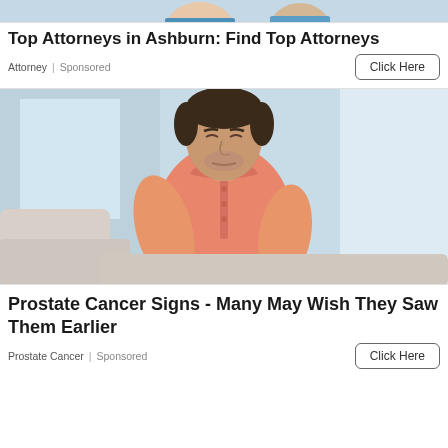[Figure (photo): Partial photo of people at top of page, cropped advertisement image]
Top Attorneys in Ashburn: Find Top Attorneys
Attorney | Sponsored
Click Here
[Figure (photo): Man in salmon/coral polo shirt sitting on a couch, holding his stomach area, appears to be in discomfort or pain. Light background with window and curtains.]
Prostate Cancer Signs - Many May Wish They Saw Them Earlier
Prostate Cancer | Sponsored
Click Here